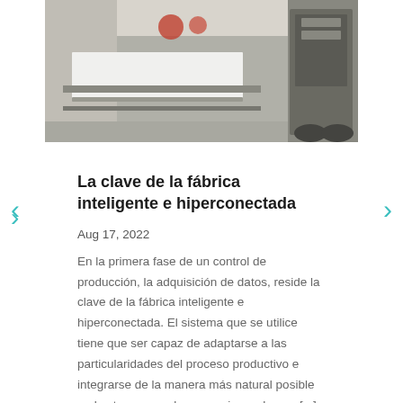[Figure (photo): Industrial factory machinery with a white panel/board on a conveyor system inside a manufacturing facility.]
La clave de la fábrica inteligente e hiperconectada
Aug 17, 2022
En la primera fase de un control de producción, la adquisición de datos, reside la clave de la fábrica inteligente e hiperconectada. El sistema que se utilice tiene que ser capaz de adaptarse a las particularidades del proceso productivo e integrarse de la manera más natural posible en las tareas que los operarios ya hacen [...]